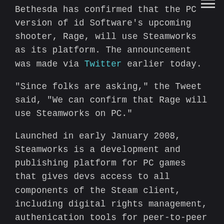Bethesda has confirmed that the PC version of id Software's upcoming shooter, Rage, will use Steamworks as its platform. The announcement was made via Twitter earlier today.
"Since folks are asking," the Tweet said, "We can confirm that Rage will use Steamworks on PC."
Launched in early January 2008, Steamworks is a development and publishing platform for PC games that gives devs access to all components of the Steam client, including digital rights management, authenication tools for peer-to-peer and server multiplayer games, voice communication, achievements, and more. Being Steamworks specific also means the PC version of Rage can be purchased from any distributor and added to a Steam account.